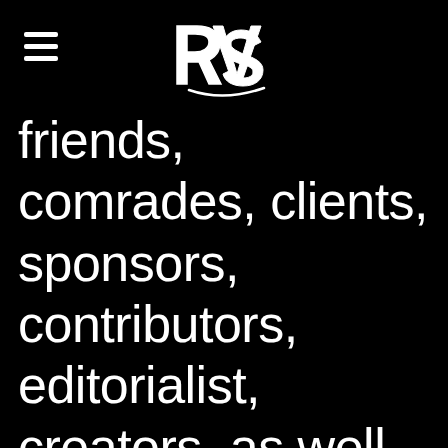RVS logo and menu icon
friends, comrades, clients, sponsors, contributors, editorialist, creators, as well as any enemies and villains which